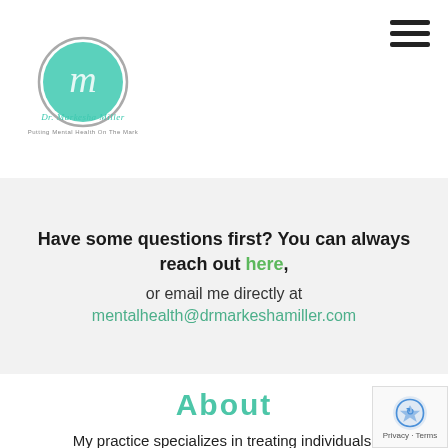[Figure (logo): Dr. Markesha Miller logo with teal circular emblem and script text 'Dr. Markesha Miller - Putting Mental Health On The Mark']
Have some questions first? You can always reach out here, or email me directly at mentalhealth@drmarkeshamiller.com
About
My practice specializes in treating individuals,